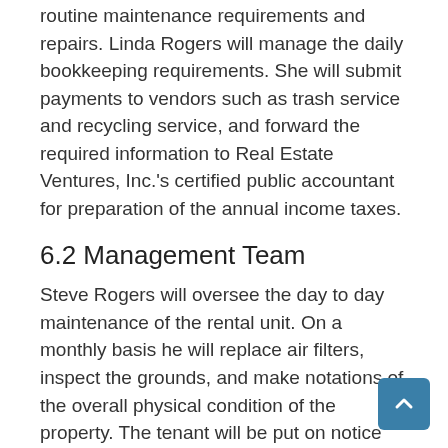routine maintenance requirements and repairs. Linda Rogers will manage the daily bookkeeping requirements. She will submit payments to vendors such as trash service and recycling service, and forward the required information to Real Estate Ventures, Inc.'s certified public accountant for preparation of the annual income taxes.
6.2 Management Team
Steve Rogers will oversee the day to day maintenance of the rental unit. On a monthly basis he will replace air filters, inspect the grounds, and make notations of the overall physical condition of the property. The tenant will be put on notice for example if the yard needs to be mowed or weeds appear to be an issue. The